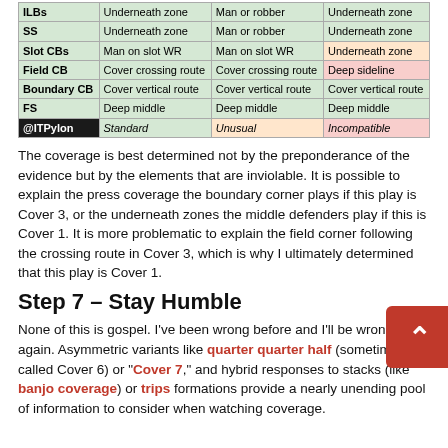|  | Cover 1 | Cover 3 | Cover 4 |
| --- | --- | --- | --- |
| ILBs | Underneath zone | Man or robber | Underneath zone |
| SS | Underneath zone | Man or robber | Underneath zone |
| Slot CBs | Man on slot WR | Man on slot WR | Underneath zone |
| Field CB | Cover crossing route | Cover crossing route | Deep sideline |
| Boundary CB | Cover vertical route | Cover vertical route | Cover vertical route |
| FS | Deep middle | Deep middle | Deep middle |
| @ITPylon | Standard | Unusual | Incompatible |
The coverage is best determined not by the preponderance of the evidence but by the elements that are inviolable. It is possible to explain the press coverage the boundary corner plays if this play is Cover 3, or the underneath zones the middle defenders play if this is Cover 1. It is more problematic to explain the field corner following the crossing route in Cover 3, which is why I ultimately determined that this play is Cover 1.
Step 7 – Stay Humble
None of this is gospel. I've been wrong before and I'll be wrong again. Asymmetric variants like quarter quarter half (sometimes called Cover 6) or "Cover 7," and hybrid responses to stacks (like banjo coverage) or trips formations provide a nearly unending pool of information to consider when watching coverage.